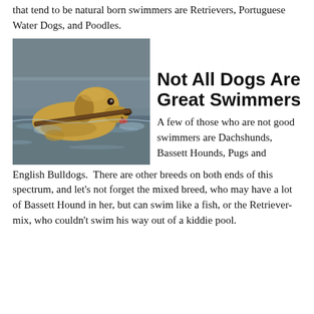that tend to be natural born swimmers are Retrievers, Portuguese Water Dogs, and Poodles.
[Figure (photo): A golden retriever dog swimming in water while carrying a stick in its mouth.]
Not All Dogs Are Great Swimmers
A few of those who are not good swimmers are Dachshunds, Bassett Hounds, Pugs and English Bulldogs.  There are other breeds on both ends of this spectrum, and let's not forget the mixed breed, who may have a lot of Bassett Hound in her, but can swim like a fish, or the Retriever-mix, who couldn't swim his way out of a kiddie pool.